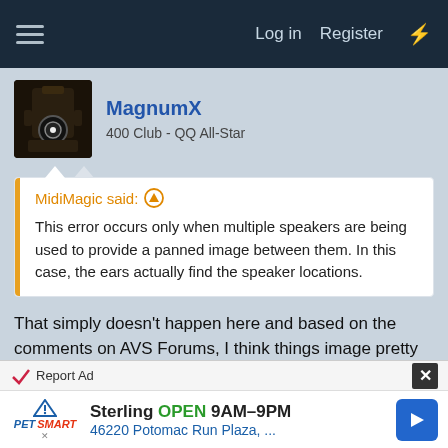Log in   Register
MagnumX
400 Club - QQ All-Star
MidiMagic said: ↑
This error occurs only when multiple speakers are being used to provide a panned image between them. In this case, the ears actually find the speaker locations.
That simply doesn't happen here and based on the comments on AVS Forums, I think things image pretty well for most people. I'm getting the feeling that it's the lack of delay with old school quad setups to correct for unequal distances (precedent effect pulls image to closer speaker
Report Ad
Sterling OPEN 9AM–9PM
46220 Potomac Run Plaza, ...